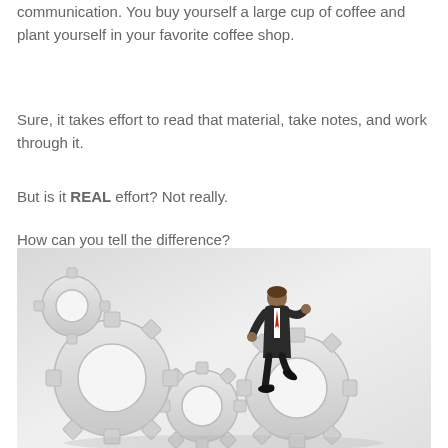communication. You buy yourself a large cup of coffee and plant yourself in your favorite coffee shop.
Sure, it takes effort to read that material, take notes, and work through it.
But is it REAL effort? Not really.
How can you tell the difference?
[Figure (illustration): A businessman in a suit running/climbing on top of large white interlocking gear cogs, against a light gray gradient background. The figure suggests effort, momentum, and working through challenges.]